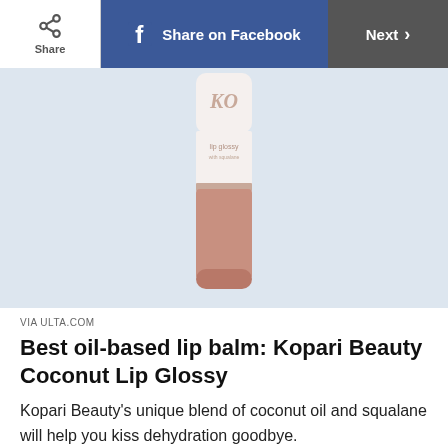Share | Share on Facebook | Next
[Figure (photo): Kopari Beauty lip glossy product tube in a mauve/peach color with white cap, displayed on a light blue/grey background.]
VIA ULTA.COM
Best oil-based lip balm: Kopari Beauty Coconut Lip Glossy
Kopari Beauty's unique blend of coconut oil and squalane will help you kiss dehydration goodbye.